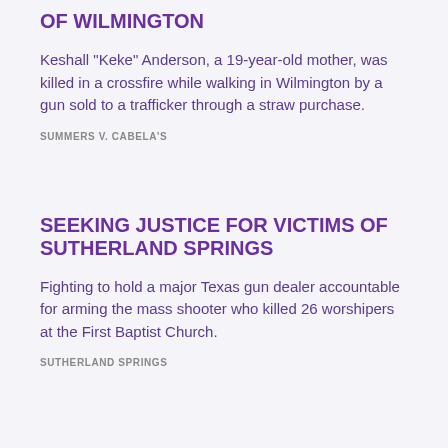OF WILMINGTON
Keshall "Keke" Anderson, a 19-year-old mother, was killed in a crossfire while walking in Wilmington by a gun sold to a trafficker through a straw purchase.
SUMMERS V. CABELA'S
SEEKING JUSTICE FOR VICTIMS OF SUTHERLAND SPRINGS
Fighting to hold a major Texas gun dealer accountable for arming the mass shooter who killed 26 worshipers at the First Baptist Church.
SUTHERLAND SPRINGS